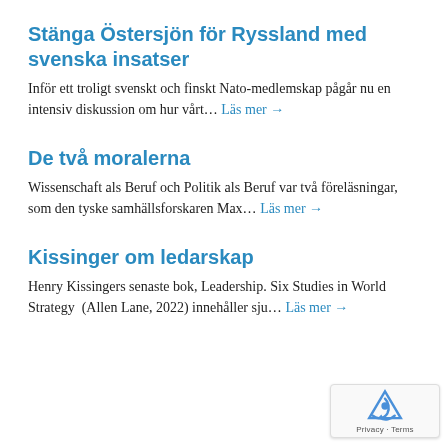Stänga Östersjön för Ryssland med svenska insatser
Inför ett troligt svenskt och finskt Nato-medlemskap pågår nu en intensiv diskussion om hur vårt... Läs mer →
De två moralerna
Wissenschaft als Beruf och Politik als Beruf var två föreläsningar, som den tyske samhällsforskaren Max... Läs mer →
Kissinger om ledarskap
Henry Kissingers senaste bok, Leadership. Six Studies in World Strategy  (Allen Lane, 2022) innehåller sju... Läs mer →